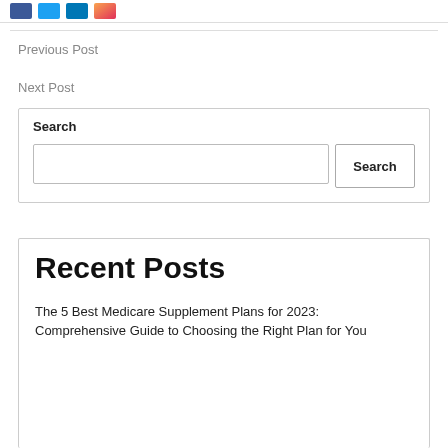[Figure (other): Social media icons: Facebook (dark blue), Twitter (light blue), LinkedIn (blue), and a gradient icon (orange-pink)]
Previous Post
Next Post
Search
Recent Posts
The 5 Best Medicare Supplement Plans for 2023: Comprehensive Guide to Choosing the Right Plan for You